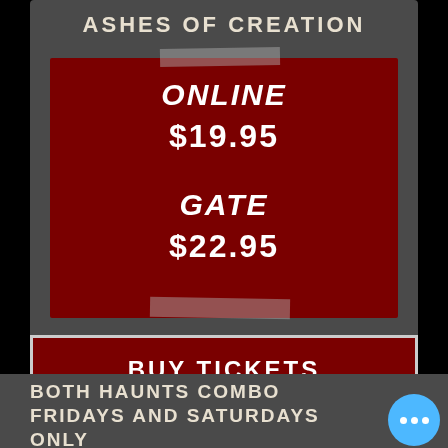ASHES OF CREATION
ONLINE
$19.95
GATE
$22.95
BUY TICKETS
BOTH HAUNTS COMBO FRIDAYS AND SATURDAYS ONLY